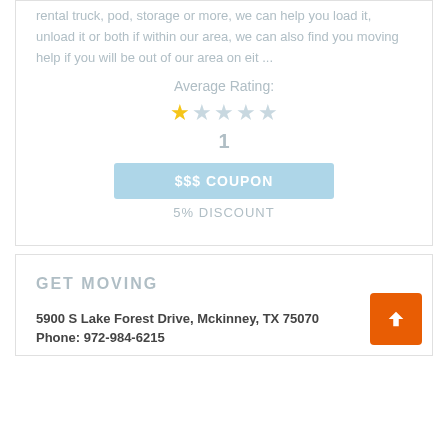rental truck, pod, storage or more, we can help you load it, unload it or both if within our area, we can also find you moving help if you will be out of our area on eit ...
Average Rating:
1
$$$ COUPON
5% DISCOUNT
GET MOVING
5900 S Lake Forest Drive, Mckinney, TX 75070
Phone: 972-984-6215